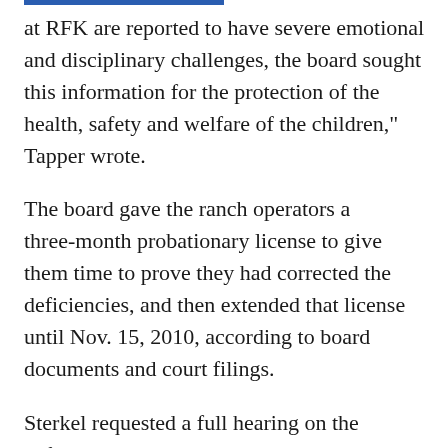at RFK are reported to have severe emotional and disciplinary challenges, the board sought this information for the protection of the health, safety and welfare of the children," Tapper wrote.
The board gave the ranch operators a three-month probationary license to give them time to prove they had corrected the deficiencies, and then extended that license until Nov. 15, 2010, according to board documents and court filings.
Sterkel requested a full hearing on the deficiencies, but Tapper said Sterkel did not provide requested information, or else provided contradictory information, in the discovery process.